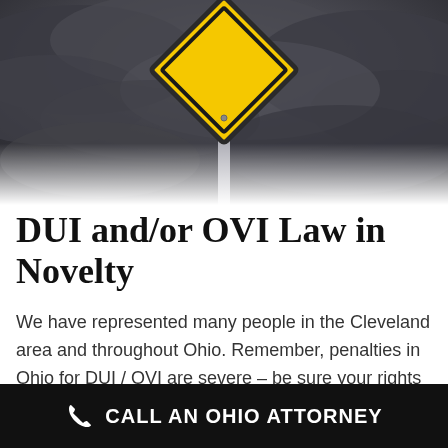[Figure (photo): A yellow diamond-shaped warning road sign on a pole against a dark stormy sky background]
DUI and/or OVI Law in Novelty
We have represented many people in the Cleveland area and throughout Ohio. Remember, penalties in Ohio for DUI / OVI are severe – be sure your rights are protected. Our team of lawyers assists clients who have been
CALL AN OHIO ATTORNEY